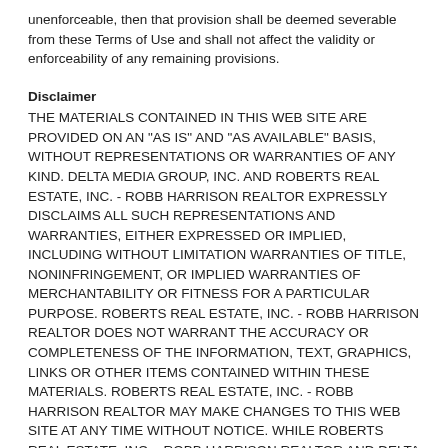unenforceable, then that provision shall be deemed severable from these Terms of Use and shall not affect the validity or enforceability of any remaining provisions.
Disclaimer
THE MATERIALS CONTAINED IN THIS WEB SITE ARE PROVIDED ON AN "AS IS" AND "AS AVAILABLE" BASIS, WITHOUT REPRESENTATIONS OR WARRANTIES OF ANY KIND. DELTA MEDIA GROUP, INC. AND ROBERTS REAL ESTATE, INC. - ROBB HARRISON REALTOR EXPRESSLY DISCLAIMS ALL SUCH REPRESENTATIONS AND WARRANTIES, EITHER EXPRESSED OR IMPLIED, INCLUDING WITHOUT LIMITATION WARRANTIES OF TITLE, NONINFRINGEMENT, OR IMPLIED WARRANTIES OF MERCHANTABILITY OR FITNESS FOR A PARTICULAR PURPOSE. ROBERTS REAL ESTATE, INC. - ROBB HARRISON REALTOR DOES NOT WARRANT THE ACCURACY OR COMPLETENESS OF THE INFORMATION, TEXT, GRAPHICS, LINKS OR OTHER ITEMS CONTAINED WITHIN THESE MATERIALS. ROBERTS REAL ESTATE, INC. - ROBB HARRISON REALTOR MAY MAKE CHANGES TO THIS WEB SITE AT ANY TIME WITHOUT NOTICE. WHILE ROBERTS REAL ESTATE, INC. - ROBB HARRISON REALTOR AND DELTA MEDIA GROUP, INC. STRIVE TO KEEP THE INFORMATION ON THIS SITE